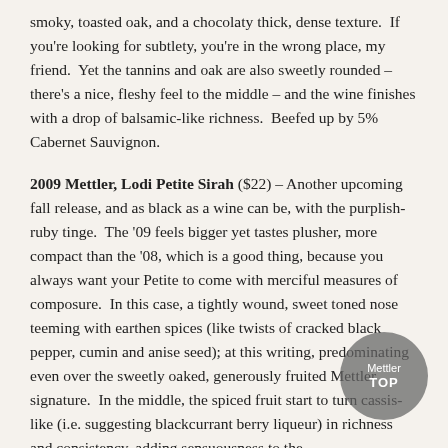smoky, toasted oak, and a chocolaty thick, dense texture.  If you're looking for subtlety, you're in the wrong place, my friend.  Yet the tannins and oak are also sweetly rounded – there's a nice, fleshy feel to the middle – and the wine finishes with a drop of balsamic-like richness.  Beefed up by 5% Cabernet Sauvignon.
2009 Mettler, Lodi Petite Sirah ($22) – Another upcoming fall release, and as black as a wine can be, with the purplish-ruby tinge.  The '09 feels bigger yet tastes plusher, more compact than the '08, which is a good thing, because you always want your Petite to come with merciful measures of composure.  In this case, a tightly wound, sweet toned nose teeming with earthen spices (like twists of cracked black pepper, cumin and anise seed); at this writing, predominating even over the sweetly oaked, generously fruited Mettler signature.  In the middle, the spiced fruit start to turn cassis-like (i.e. suggesting blackcurrant berry liqueur) in richness and consistency, adding sensuousness to the